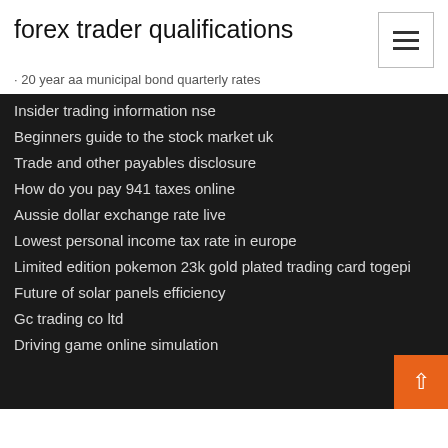forex trader qualifications
20 year aa municipal bond quarterly rates
Insider trading information nse
Beginners guide to the stock market uk
Trade and other payables disclosure
How do you pay 941 taxes online
Aussie dollar exchange rate live
Lowest personal income tax rate in europe
Limited edition pokemon 23k gold plated trading card togepi
Future of solar panels efficiency
Gc trading co ltd
Driving game online simulation